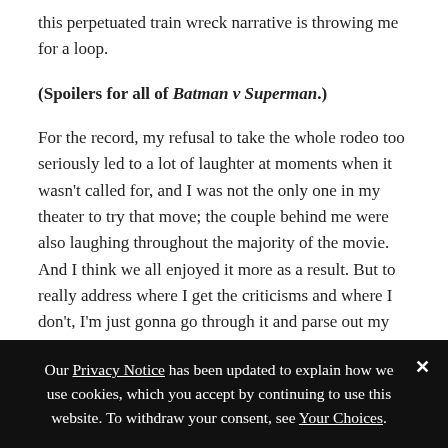this perpetuated train wreck narrative is throwing me for a loop.
(Spoilers for all of Batman v Superman.)
For the record, my refusal to take the whole rodeo too seriously led to a lot of laughter at moments when it wasn't called for, and I was not the only one in my theater to try that move; the couple behind me were also laughing throughout the majority of the movie. And I think we all enjoyed it more as a result. But to really address where I get the criticisms and where I don't, I'm just gonna go through it and parse out my reactions to this strange never-ending movie:
Our Privacy Notice has been updated to explain how we use cookies, which you accept by continuing to use this website. To withdraw your consent, see Your Choices.